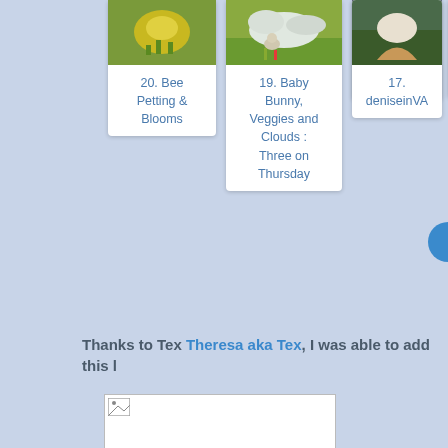[Figure (photo): Card 20: thumbnail photo of bee with yellow flowers/blooms]
20. Bee Petting & Blooms
[Figure (photo): Card 19: thumbnail photo of baby bunny with veggies and clouds]
19. Baby Bunny, Veggies and Clouds : Three on Thursday
[Figure (photo): Card 18: thumbnail photo labeled Debbie]
18. Debbie
[Figure (photo): Card 17: thumbnail photo labeled deniseinVA]
17. deniseinVA
[Figure (photo): Card 16: partially visible thumbnail]
16.
Thanks to Tex Theresa aka Tex, I was able to add this l
[Figure (photo): Broken/loading image placeholder at bottom of page]